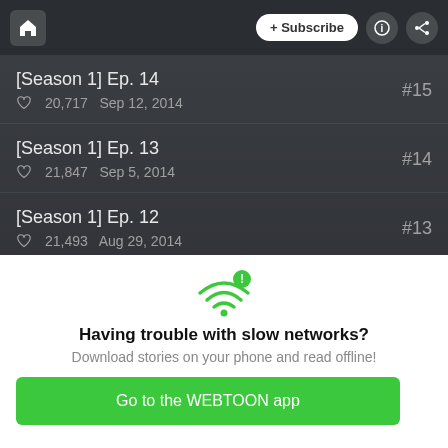+ Subscribe
[Season 1] Ep. 14 | 20,717 | Sep 12, 2014 | #15
[Season 1] Ep. 13 | 21,847 | Sep 5, 2014 | #14
[Season 1] Ep. 12 | 21,493 | Aug 29, 2014 | #13
[Season 1] Ep. 11 | 21,742 | Aug 22, 2014 | #12
[Figure (illustration): WiFi signal icon with exclamation mark in green, indicating slow network warning]
Having trouble with slow networks?
Download stories on your phone and read offline!
Go to the WEBTOON app